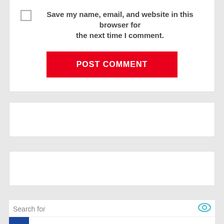Save my name, email, and website in this browser for the next time I comment.
POST COMMENT
[Figure (other): White empty box (form field or widget area)]
[Figure (other): White empty box (form field or widget area)]
Search for
1 Healthiest Dry Dog Food
2 Kleider für Frauen über 50